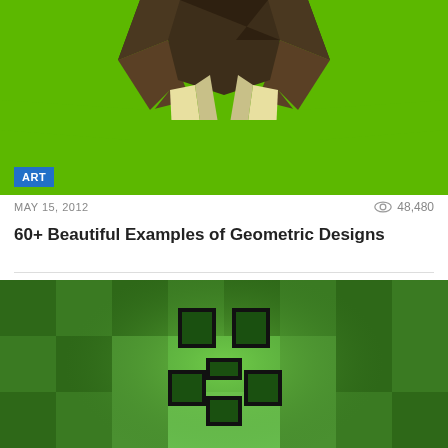[Figure (illustration): Geometric/low-poly illustration of a walrus face on bright green background with triangular tusks and dark polygon head]
ART
MAY 15, 2012
48,480
60+ Beautiful Examples of Geometric Designs
[Figure (illustration): Minecraft Creeper face rendered on a pixelated green background with blocky square eye and mouth pattern]